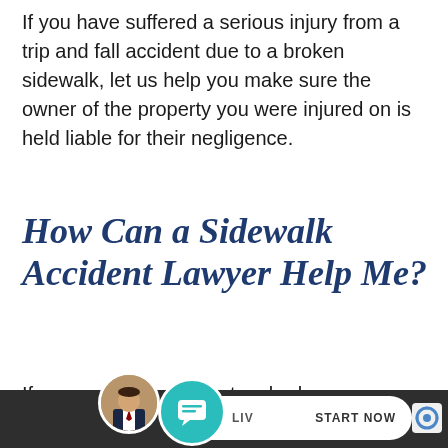If you have suffered a serious injury from a trip and fall accident due to a broken sidewalk, let us help you make sure the owner of the property you were injured on is held liable for their negligence.
How Can a Sidewalk Accident Lawyer Help Me?
If you were injured due to a broken or defective sidewalk, you could be entitled
[Figure (screenshot): Bottom website chat bar with attorney avatar photo, live chat pill button with teal chat icon overlay, and START NOW label. reCAPTCHA logo visible on right.]